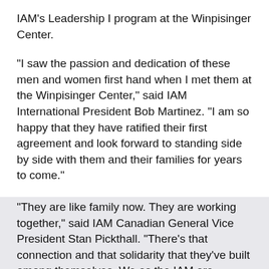IAM's Leadership I program at the Winpisinger Center.
“I saw the passion and dedication of these men and women first hand when I met them at the Winpisinger Center,” said IAM International President Bob Martinez. “I am so happy that they have ratified their first agreement and look forward to standing side by side with them and their families for years to come.”
“They are like family now. They are working together,” said IAM Canadian General Vice President Stan Pickthall. “There’s that connection and that solidarity that they’ve built among themselves. We as the IAM are facilitators of that process.”
WATCH: A New Local Lodge and New Leaders for the IAM in Canada